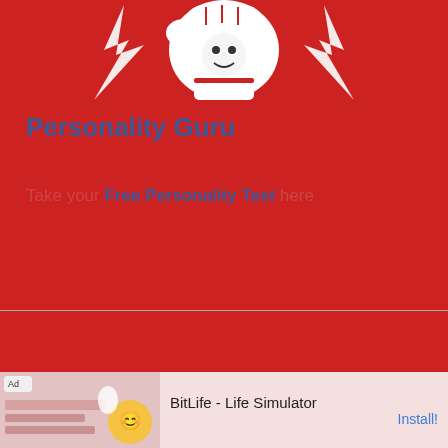[Figure (logo): Boxing Daily logo: fist/glove with lightning bolts on red background]
Personality Guru
Take your Free Personality Test here
Boxing Daily - Copyright © 2010 - 2022 Time and Date provided by World Clock. Privacy Policy
AN ELITE CAFEMEDIA PUBLISHER
[Figure (screenshot): Ad banner: BitLife - Life Simulator with Install button]